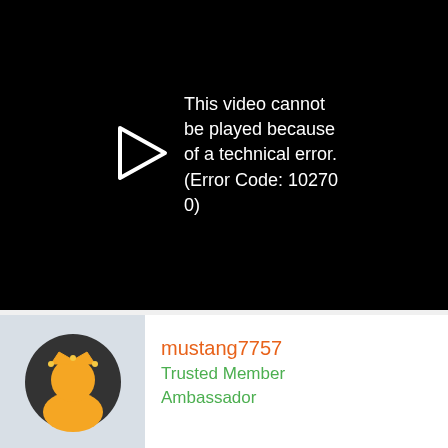[Figure (screenshot): Black video player showing error message: 'This video cannot be played because of a technical error. (Error Code: 102700)' with a play button arrow icon on the left]
mustang7757
Trusted Member
Ambassador